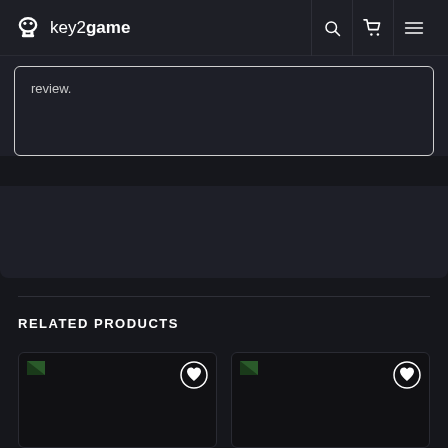key2game
review.
RELATED PRODUCTS
[Figure (screenshot): Product card 1 with wishlist heart icon]
[Figure (screenshot): Product card 2 with wishlist heart icon]